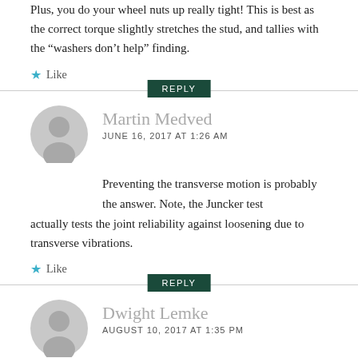Plus, you do your wheel nuts up really tight! This is best as the correct torque slightly stretches the stud, and tallies with the “washers don’t help” finding.
★ Like
REPLY
Martin Medved
JUNE 16, 2017 AT 1:26 AM
Preventing the transverse motion is probably the answer. Note, the Juncker test actually tests the joint reliability against loosening due to transverse vibrations.
★ Like
REPLY
Dwight Lemke
AUGUST 10, 2017 AT 1:35 PM